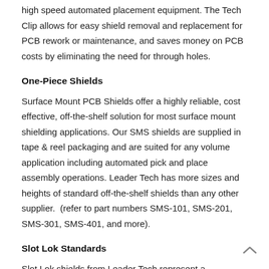high speed automated placement equipment. The Tech Clip allows for easy shield removal and replacement for PCB rework or maintenance, and saves money on PCB costs by eliminating the need for through holes.
One-Piece Shields
Surface Mount PCB Shields offer a highly reliable, cost effective, off-the-shelf solution for most surface mount shielding applications. Our SMS shields are supplied in tape & reel packaging and are suited for any volume application including automated pick and place assembly operations. Leader Tech has more sizes and heights of standard off-the-shelf shields than any other supplier. (refer to part numbers SMS-101, SMS-201, SMS-301, SMS-401, and more).
Slot Lok Standards
Slot Lok shields from Leader Tech represent a proprietary manufacturing process that increases shield design flexibility while